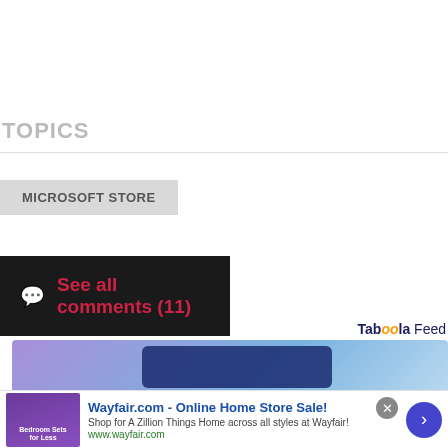TOPICS
MICROSOFT STORE
See all comments (11)
Taboola Feed
[Figure (photo): Taboola feed advertisement banner with blue/purple gradient background showing a dark device]
[Figure (photo): Wayfair.com advertisement with purple bedroom furniture thumbnail]
Wayfair.com - Online Home Store Sale! Shop for A Zillion Things Home across all styles at Wayfair! www.wayfair.com